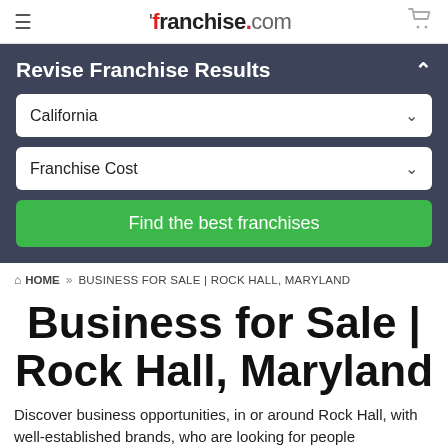franchise.com
Revise Franchise Results
California
Franchise Cost
Find the best franchises
HOME » BUSINESS FOR SALE | ROCK HALL, MARYLAND
Business for Sale | Rock Hall, Maryland
Discover business opportunities, in or around Rock Hall, with well-established brands, who are looking for people